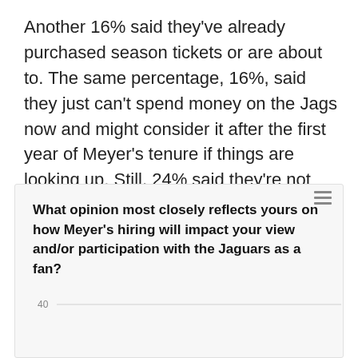Another 16% said they've already purchased season tickets or are about to. The same percentage, 16%, said they just can't spend money on the Jags now and might consider it after the first year of Meyer's tenure if things are looking up. Still, 24% said they're not sure.
What opinion most closely reflects yours on how Meyer's hiring will impact your view and/or participation with the Jaguars as a fan?
[Figure (bar-chart): Partial bar chart visible showing y-axis gridlines at 40 and 30, chart is cut off at bottom]